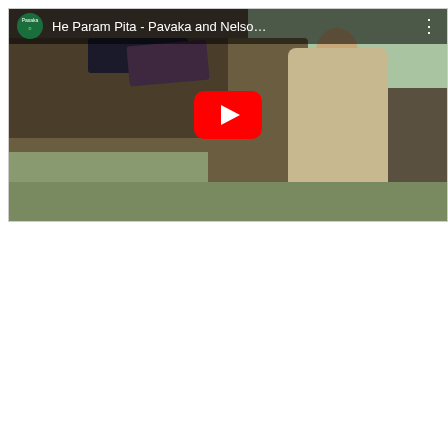[Figure (screenshot): YouTube video thumbnail showing a man standing next to cargo covered with tarps, with a YouTube play button overlay. The video title reads 'He Param Pita - Pavaka and Nelso...' with a Pasaka channel logo in the top-left corner and a three-dot menu on the top-right.]